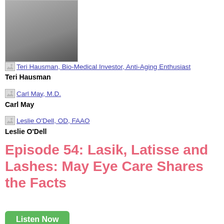[Figure (photo): Photo of blonde woman lying down wearing black top]
Teri Hausman, Bio-Medical Investor, Anti-Aging Enthusiast
Teri Hausman
Carl May, M.D.
Carl May
Leslie O'Dell, OD, FAAO
Leslie O'Dell
Episode 54: Lasik, Latisse and Lashes: May Eye Care Shares the Facts
Listen Now